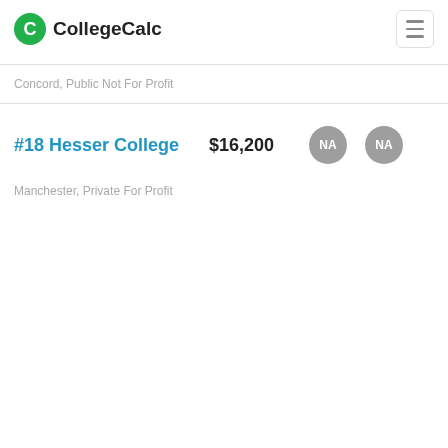CollegeCalc
Concord, Public Not For Profit
#18 Hesser College
$16,200
NA
NA
Manchester, Private For Profit